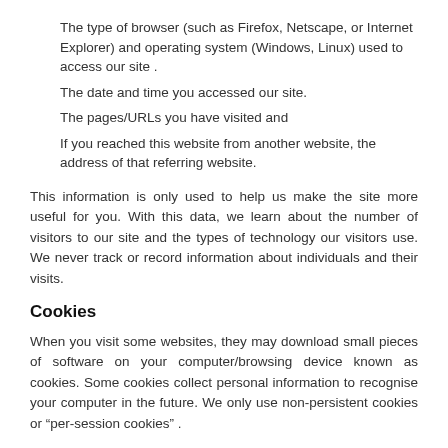The type of browser (such as Firefox, Netscape, or Internet Explorer) and operating system (Windows, Linux) used to access our site .
The date and time you accessed our site.
The pages/URLs you have visited and
If you reached this website from another website, the address of that referring website.
This information is only used to help us make the site more useful for you. With this data, we learn about the number of visitors to our site and the types of technology our visitors use. We never track or record information about individuals and their visits.
Cookies
When you visit some websites, they may download small pieces of software on your computer/browsing device known as cookies. Some cookies collect personal information to recognise your computer in the future. We only use non-persistent cookies or “per-session cookies” .